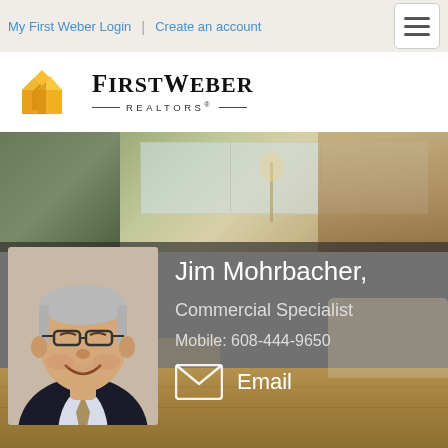My First Weber Login | Create an account
[Figure (logo): First Weber Realtors logo with orange geometric house icon and stylized text]
[Figure (photo): Real estate agent profile page banner showing Jim Mohrbacher, Commercial Specialist with headshot photo overlaid on a living room interior background photo]
Jim Mohrbacher,
Commercial Specialist
Mobile: 608-444-9650
Email